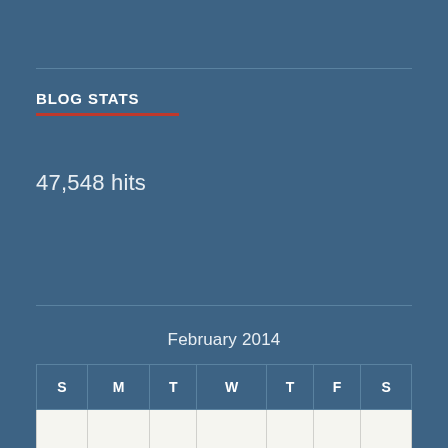BLOG STATS
47,548 hits
February 2014
| S | M | T | W | T | F | S |
| --- | --- | --- | --- | --- | --- | --- |
|  |  |  |  |  |  |  |